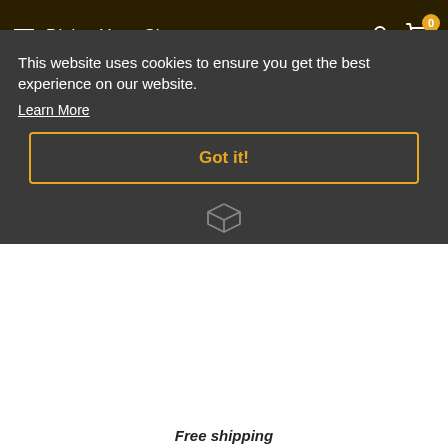Divine Yoga Shop
Search...
DIVINE YOGA SHOP
Lavender Blossom
£3.50
DIVINE YOGA SHOP
Soothing Calend...
£5.50
This website uses cookies to ensure you get the best experience on our website.
Learn More
Got it!
Add to
Free shipping